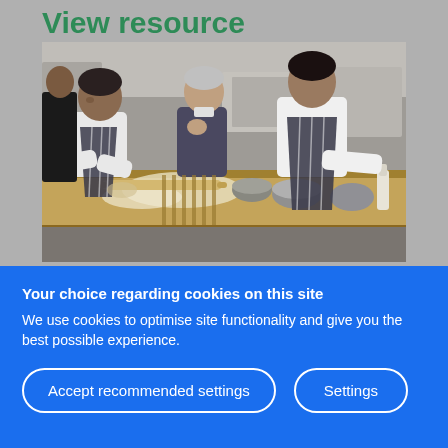View resource
[Figure (photo): People in a professional kitchen, wearing striped aprons and white chef uniforms, working at a large preparation table with dough and cooking equipment. An older person in a suit observes them.]
Your choice regarding cookies on this site
We use cookies to optimise site functionality and give you the best possible experience.
Accept recommended settings
Settings